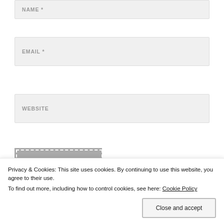NAME *
EMAIL *
WEBSITE
POST COMMENT
Notify me of new comments via email.
Privacy & Cookies: This site uses cookies. By continuing to use this website, you agree to their use.
To find out more, including how to control cookies, see here: Cookie Policy
Close and accept